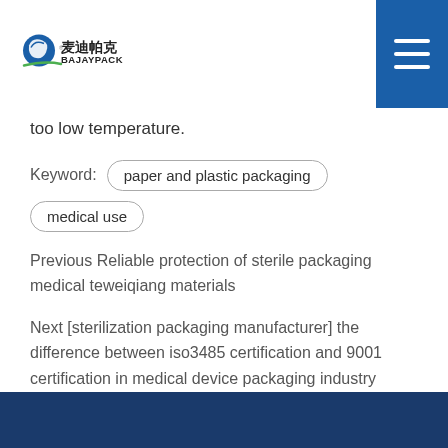BAJAYPACK 麦迪帕克
too low temperature.
Keyword: paper and plastic packaging   medical use
Previous Reliable protection of sterile packaging medical teweiqiang materials
Next [sterilization packaging manufacturer] the difference between iso3485 certification and 9001 certification in medical device packaging industry